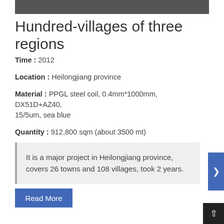[Figure (photo): Dark photo strip at top of page]
Hundred-villages of three regions
Time : 2012
Location : Heilongjiang province
Material : PPGL steel coil, 0.4mm*1000mm, DX51D+AZ40, 15/5um, sea blue
Quantity : 912,800 sqm (about 3500 mt)
It is a major project in Heilongjiang province, covers 26 towns and 108 villages, took 2 years.